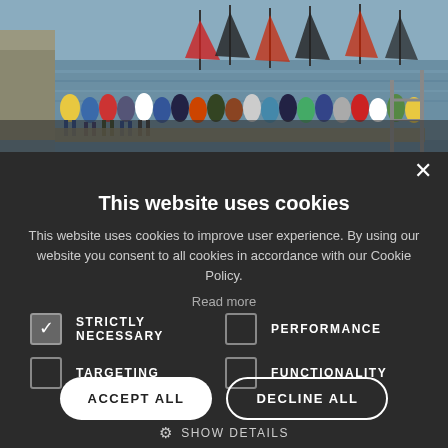[Figure (photo): Crowd of people standing on a waterfront/harbour wall watching sailing boats on choppy water. Overcast sky. People dressed in casual/outdoor clothing in various colours.]
This website uses cookies
This website uses cookies to improve user experience. By using our website you consent to all cookies in accordance with our Cookie Policy. Read more
☑ STRICTLY NECESSARY   ☐ PERFORMANCE
☐ TARGETING   ☐ FUNCTIONALITY
ACCEPT ALL   DECLINE ALL
⚙ SHOW DETAILS